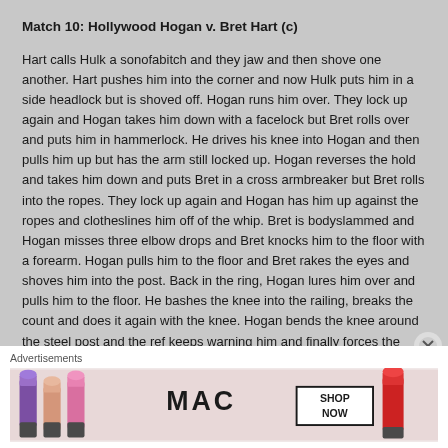Match 10: Hollywood Hogan v. Bret Hart (c)
Hart calls Hulk a sonofabitch and they jaw and then shove one another. Hart pushes him into the corner and now Hulk puts him in a side headlock but is shoved off. Hogan runs him over. They lock up again and Hogan takes him down with a facelock but Bret rolls over and puts him in hammerlock. He drives his knee into Hogan and then pulls him up but has the arm still locked up. Hogan reverses the hold and takes him down and puts Bret in a cross armbreaker but Bret rolls into the ropes. They lock up again and Hogan has him up against the ropes and clotheslines him off of the whip. Bret is bodyslammed and Hogan misses three elbow drops and Bret knocks him to the floor with a forearm. Hogan pulls him to the floor and Bret rakes the eyes and shoves him into the post. Back in the ring, Hogan lures him over and pulls him to the floor. He bashes the knee into the railing, breaks the count and does it again with the knee. Hogan bends the knee around the steel post and the ref keeps warning him and finally forces the break. Bret backs into the corner but Hogan is relentless and stomps
Advertisements
[Figure (photo): MAC cosmetics advertisement banner showing lipsticks, MAC logo, and SHOP NOW button]